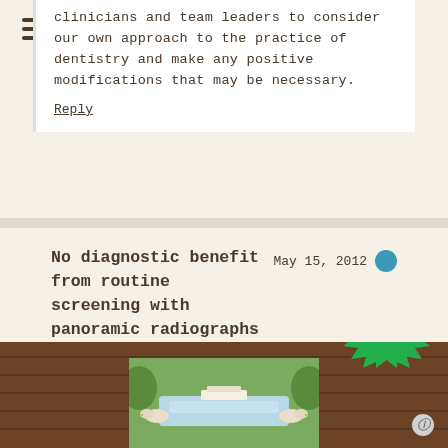clinicians and team leaders to consider our own approach to the practice of dentistry and make any positive modifications that may be necessary.
Reply
No diagnostic benefit from routine screening with panoramic radiographs » The Dental Elf
May 15, 2012
[...] [...]
Reply
[Figure (illustration): Footer area with wood panel background, illustrated pond/landscape scene with birds, and a green starburst badge reading 'Try out our members features!' with a help icon circle.]